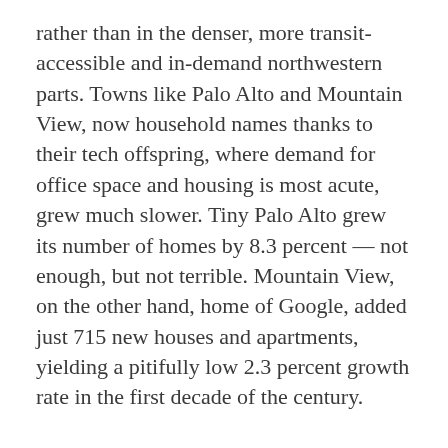rather than in the denser, more transit-accessible and in-demand northwestern parts. Towns like Palo Alto and Mountain View, now household names thanks to their tech offspring, where demand for office space and housing is most acute, grew much slower. Tiny Palo Alto grew its number of homes by 8.3 percent — not enough, but not terrible. Mountain View, on the other hand, home of Google, added just 715 new houses and apartments, yielding a pitifully low 2.3 percent growth rate in the first decade of the century.
The disparity in growth hints at an ugly tension in housing growth in Silicon Valley, and throughout the Bay Area in general: The places that are allowing construction are relatively poor places that are most likely to see gentrification because of it, while the already wealthy places with the highest demand have walled themselves off to growth.